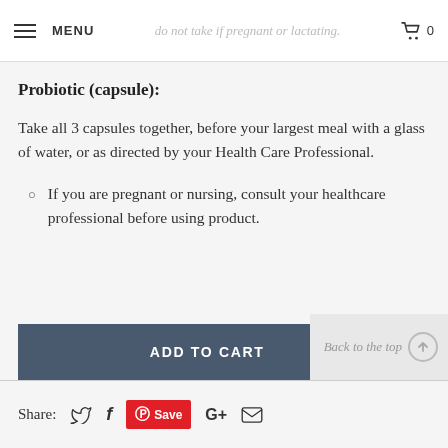MENU | do not take if pregnant or lactating. | 0
Probiotic (capsule):
Take all 3 capsules together, before your largest meal with a glass of water, or as directed by your Health Care Professional.
If you are pregnant or nursing, consult your healthcare professional before using product.
ADD TO CART
Share: [Twitter] [Facebook] [Pinterest Save] [Google+] [Email]